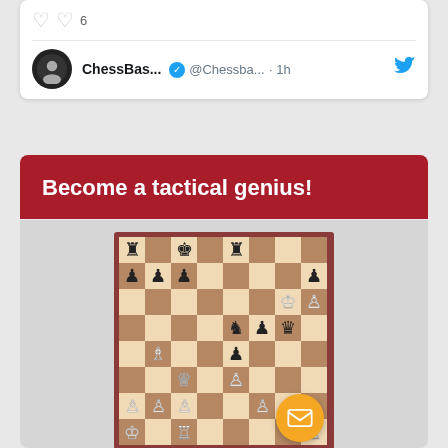[Figure (screenshot): Twitter/X tweet card showing ChessBas... @Chessba... account with verified badge, posted 1h ago, with heart/like icons and Twitter bird logo]
Become a tactical genius!
[Figure (photo): Chess board diagram showing a mid-game position with black and white pieces including rooks, bishops, queens, knights, kings, and pawns arranged on a standard 8x8 chessboard with alternating light and dark brown squares]